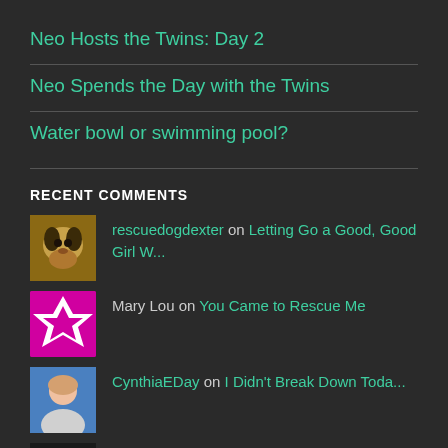Neo Hosts the Twins: Day 2
Neo Spends the Day with the Twins
Water bowl or swimming pool?
RECENT COMMENTS
rescuedogdexter on Letting Go a Good, Good Girl W...
Mary Lou on You Came to Rescue Me
CynthiaEDay on I Didn't Break Down Toda...
James MacArthur on I Didn't Break Down Toda...